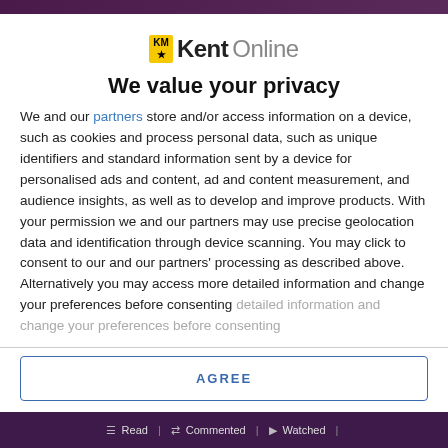[Figure (logo): KentOnline logo with yellow KM badge and Kent in bold black, Online in grey]
We value your privacy
We and our partners store and/or access information on a device, such as cookies and process personal data, such as unique identifiers and standard information sent by a device for personalised ads and content, ad and content measurement, and audience insights, as well as to develop and improve products. With your permission we and our partners may use precise geolocation data and identification through device scanning. You may click to consent to our and our partners' processing as described above. Alternatively you may access more detailed information and change your preferences before consenting
AGREE
MORE OPTIONS
Read | Commented | Watched